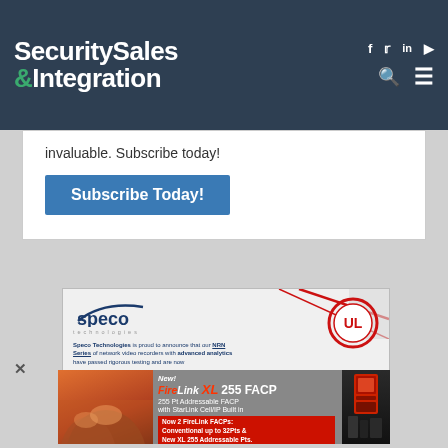Security Sales & Integration
invaluable. Subscribe today!
[Figure (other): Subscribe Today! button - blue rectangular button]
[Figure (other): Speco Technologies advertisement - NRN Series network video recorders with UL badge]
[Figure (other): FireLink XL 255 FACP advertisement - 255 Pt Addressable FACP with StarLink Cell/IP Built in, Now 2 FireLink FACPs: Conventional up to 32Pts & New XL 255 Addressable Pts.]